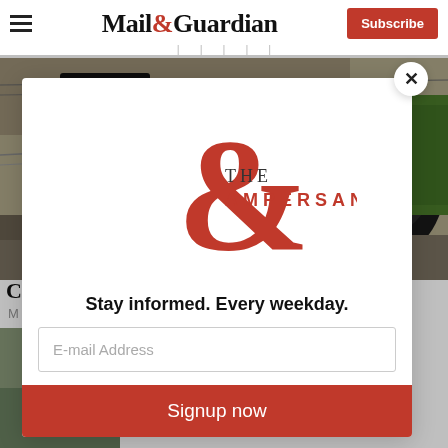Mail&Guardian — Subscribe button
[Figure (photo): Train at a station platform with a digital clock display showing 10:13, green trees visible in background]
C...
M...
[Figure (logo): The Ampersand newsletter logo — large red ampersand with 'THE AMPERSAND' text]
Stay informed. Every weekday.
E-mail Address
Signup now